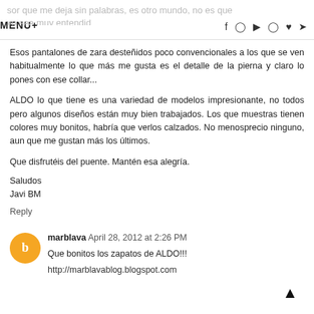sor que me deja sin palabras, es otro mundo, no es que yo sea muy entendid... MENU+ [social icons]
Esos pantalones de zara desteñidos poco convencionales a los que se ven habitualmente lo que más me gusta es el detalle de la pierna y claro lo pones con ese collar...
ALDO lo que tiene es una variedad de modelos impresionante, no todos pero algunos diseños están muy bien trabajados. Los que muestras tienen colores muy bonitos, habría que verlos calzados. No menosprecio ninguno, aun que me gustan más los últimos.
Que disfrutéis del puente. Mantén esa alegría.
Saludos
Javi BM
Reply
marblava  April 28, 2012 at 2:26 PM
Que bonitos los zapatos de ALDO!!!
http://marblavablog.blogspot.com